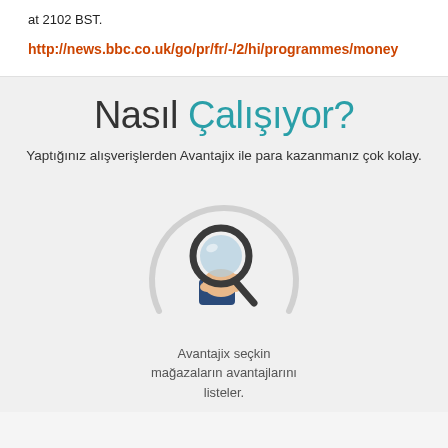at 2102 BST.
http://news.bbc.co.uk/go/pr/fr/-/2/hi/programmes/money
Nasıl Çalışıyor?
Yaptığınız alışverişlerden Avantajix ile para kazanmanız çok kolay.
[Figure (illustration): A magnifying glass icon held by a hand, inside a circular arc, representing search/discovery functionality.]
Avantajix seçkin mağazaların avantajlarını listeler.